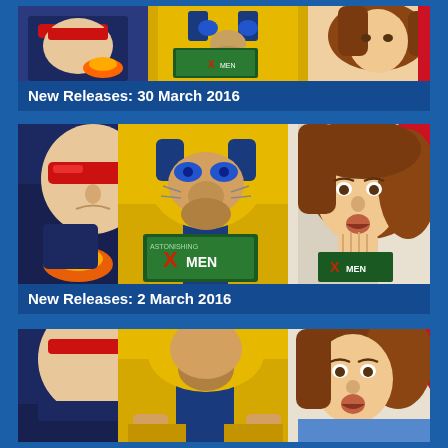[Figure (illustration): Comic book style illustration showing X-Men characters including Wolverine in yellow costume, Cyclops with red visor, and a female character, partially cropped at top of page]
New Releases: 30 March 2016
[Figure (illustration): Comic book style illustration showing X-Men characters: Cyclops (left, blue costume with red visor), Wolverine (center, yellow costume), and a female character with brown hair (right), one holding an X-Men comic book]
New Releases: 2 March 2016
[Figure (illustration): Comic book style illustration showing the same X-Men characters partially cropped, similar to the middle panel, at the bottom of the page]